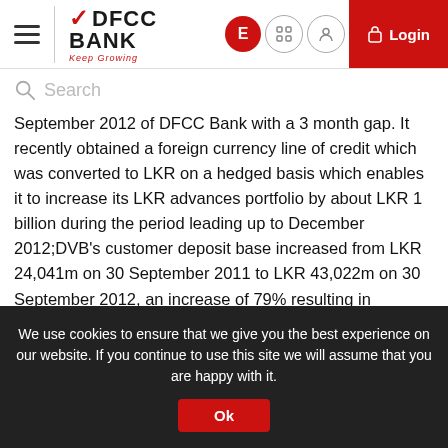[Figure (logo): DFCC Bank logo with checkmark and 'Keep Growing' tagline, navigation header with hamburger menu, E button, grid button, person button, and red Login button]
Search
September 2012 of DFCC Bank with a 3 month gap. It recently obtained a foreign currency line of credit which was converted to LKR on a hedged basis which enables it to increase its LKR advances portfolio by about LKR 1 billion during the period leading up to December 2012;DVB's customer deposit base increased from LKR 24,041m on 30 September 2011 to LKR 43,022m on 30 September 2012, an increase of 79% resulting in reducing its exposure to inter bank borrowing and significant improvement to the cash equivalent on 30 September 2012 to LKR 8,278m compared to LKR 4,112m one year ago. DFCC also increased its customer
We use cookies to ensure that we give you the best experience on our website. If you continue to use this site we will assume that you are happy with it.